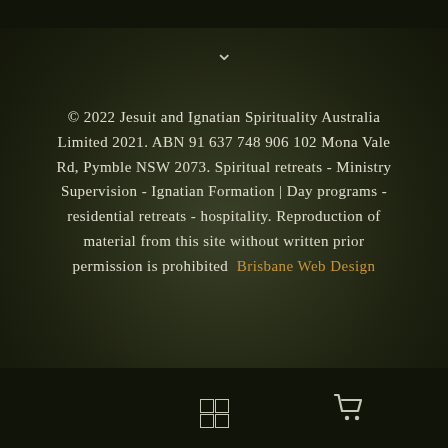© 2022 Jesuit and Ignatian Spirituality Australia Limited 2021. ABN 91 637 748 906 102 Mona Vale Rd, Pymble NSW 2073. Spiritual retreats - Ministry Supervision - Ignatian Formation | Day programs - residential retreats - hospitality. Reproduction of material from this site without written prior permission is prohibited  Brisbane Web Design